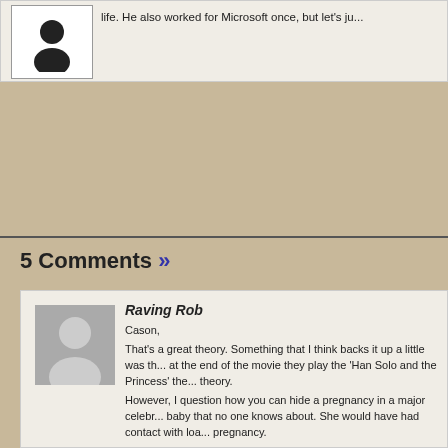life. He also worked for Microsoft once, but let's ju...
5 Comments »
Raving Rob
Cason,
That's a great theory. Something that I think backs it up a little was th... at the end of the movie they play the 'Han Solo and the Princess' the... theory.
However, I question how you can hide a pregnancy in a major celebr... baby that no one knows about. She would have had contact with loa... pregnancy.
It was an issue I had with Ep 3. How can Anakin not know she is hav... Padme not know). In our world with our level of technology you woul... how can they not know in SW?
I just think from a practical standpoint it makes more sense that Luke... mother could be secret and hidden.
I agree that due to the incestuous nature of SW she has to be either ... it would be very nice if she were just some random person who just s... power.
If Rey is Leia's then you would expect she might follow the same pat... the child to a politician friend to raise just as she had been raised.
Then again, the Jedi plan for Luke was to hide him with his 'uncle' an... Skywalker name because who would think he was related to Anakin s...
And why name their kid Ben. Wasn't Ben just Obi-Wan's name in hi...